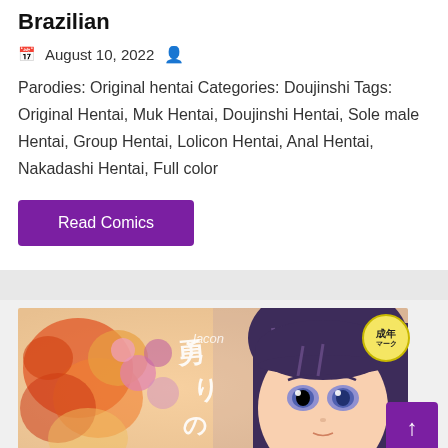Brazilian
August 10, 2022
Parodies: Original hentai Categories: Doujinshi Tags: Original Hentai, Muk Hentai, Doujinshi Hentai, Sole male Hentai, Group Hentai, Lolicon Hentai, Anal Hentai, Nakadashi Hentai, Full color
Read Comics
[Figure (illustration): Manga/doujinshi cover art showing an anime-style girl with dark hair and purple eyes, with Japanese text and floral elements. A yellow circle badge with 成年 mark in the top right corner.]